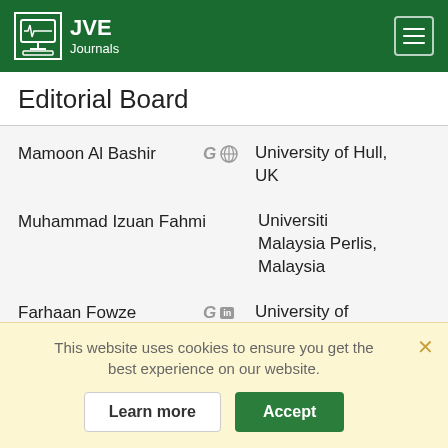JVE Journals
Editorial Board
Mamoon Al Bashir — University of Hull, UK
Muhammad Izuan Fahmi — Universiti Malaysia Perlis, Malaysia
Farhaan Fowze — University of Florida, USA
Abhay Menon — CIRCBIO
This website uses cookies to ensure you get the best experience on our website.